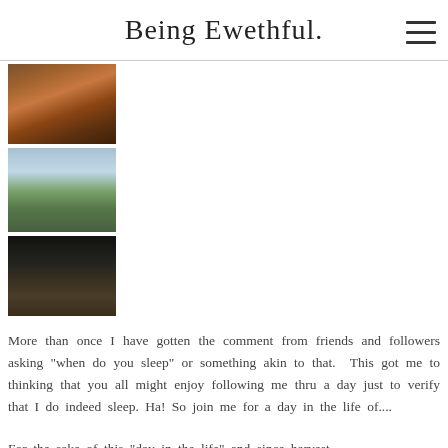Being Ewethful.
[Figure (photo): Photo of a chicken on a wooden structure, farm setting]
[Figure (photo): Photo of a field with animals and green grass under cloudy sky]
[Figure (photo): Photo of a dark barn interior with animals]
More than once I have gotten the comment from friends and followers asking "when do you sleep" or something akin to that.  This got me to thinking that you all might enjoy following me thru a day just to verify that I do indeed sleep. Ha! So join me for a day in the life of....
For the sake of this "day in the life" and since harvest